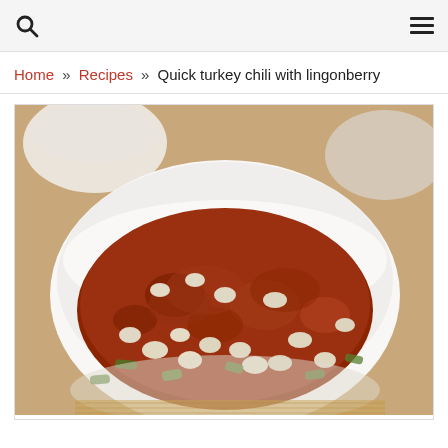Search | Menu
Home » Recipes » Quick turkey chili with lingonberry
[Figure (photo): A white bowl filled with turkey chili containing white beans, green peppers, and ground meat in a red tomato sauce, placed on a wooden surface with another bowl visible in the background.]